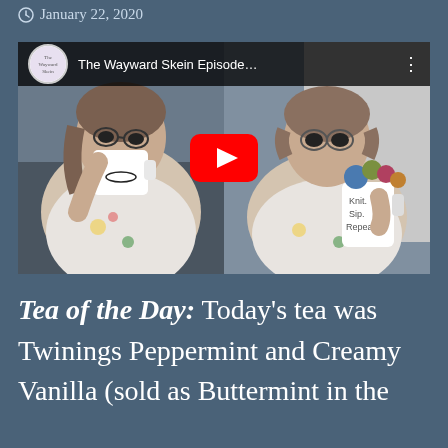January 22, 2020
[Figure (screenshot): YouTube video embed thumbnail showing 'The Wayward Skein Episode...' with two women, one drinking from a mug and one holding a mug that reads 'Knit. Sip. Repeat.' with a YouTube play button overlay]
Tea of the Day: Today's tea was Twinings Peppermint and Creamy Vanilla (sold as Buttermint in the